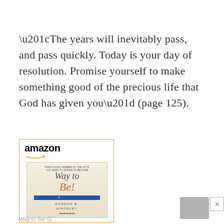“The years will inevitably pass, and pass quickly. Today is your day of resolution. Promise yourself to make something good of the precious life that God has given you” (page 125).
[Figure (other): Amazon product listing widget showing the book 'Way to Be!' by Gordon B. Hinckley, with orange Amazon logo and arrow, book cover with title in italic serif font, blue bar, and author name in spaced caps.]